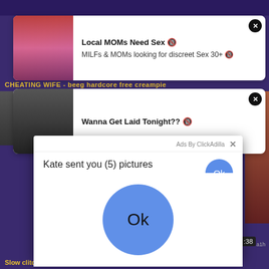[Figure (screenshot): Adult website screenshot with pop-up advertisements. Top ad card: 'Local MOMs Need Sex' with emoji, subtext 'MILFs & MOMs looking for discreet Sex 30+'. Second ad card: 'Wanna Get Laid Tonight?' with emoji. Overlay modal from ClickAdilla: 'Kate sent you (5) pictures / Click OK to display the photo' with a large blue OK button. Yellow text banners reading 'CHEATING WIFE - beeg hardcore free creampie' and 'Slow clitoris.. beeg fingering free pov'. Timer badge showing ':38' and 'a1h' label.]